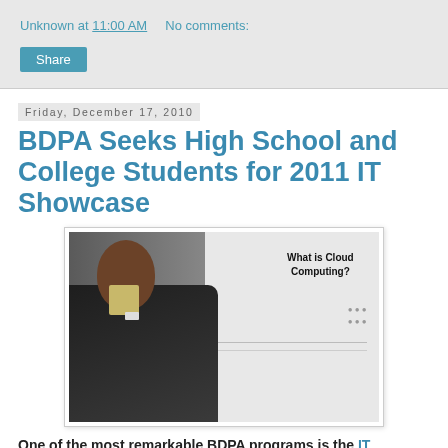Unknown at 11:00 AM   No comments:
Share
Friday, December 17, 2010
BDPA Seeks High School and College Students for 2011 IT Showcase
[Figure (photo): A man in a suit standing in front of a poster board displaying 'What is Cloud Computing?' at what appears to be an IT showcase event.]
One of the most remarkable BDPA programs is the IT Showcase. This program provides a showcase for talented young people that are the future faces of technology. BDPA is actively recruiting high school and college students to participate in the 2011 National IT Showcase in Chicago!